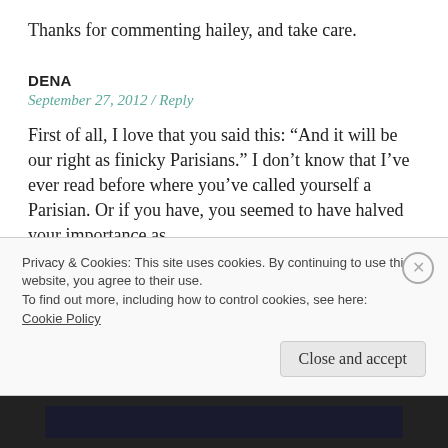Thanks for commenting hailey, and take care.
DENA
September 27, 2012 / Reply
First of all, I love that you said this: “And it will be our right as finicky Parisians.” I don’t know that I’ve ever read before where you’ve called yourself a Parisian. Or if you have, you seemed to have halved your importance as
Privacy & Cookies: This site uses cookies. By continuing to use this website, you agree to their use.
To find out more, including how to control cookies, see here: Cookie Policy
Close and accept